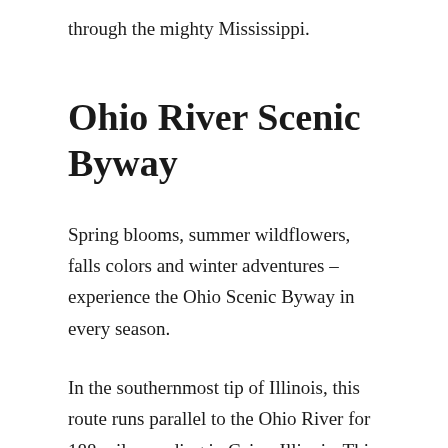through the mighty Mississippi.
Ohio River Scenic Byway
Spring blooms, summer wildflowers, falls colors and winter adventures – experience the Ohio Scenic Byway in every season.
In the southernmost tip of Illinois, this route runs parallel to the Ohio River for 188 miles, ending in Cairo, Illinois. This National Scenic Byway reflects on rich history as it passes through many ancient sites that tell the stories of Native Americans, river pirates